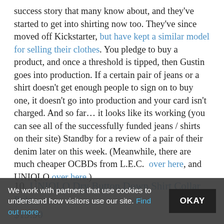success story that many know about, and they've started to get into shirting now too. They've since moved off Kickstarter, but have kept a similar model for selling their clothes. You pledge to buy a product, and once a threshold is tipped, then Gustin goes into production. If a certain pair of jeans or a shirt doesn't get enough people to sign on to buy one, it doesn't go into production and your card isn't charged. And so far… it looks like its working (you can see all of the successfully funded jeans / shirts on their site) Standby for a review of a pair of their denim later on this week. (Meanwhile, there are much cheaper OCBDs from L.E.C.  over here, and UNIQLO over here.)
10. UNIQLO Dry Button Down Shirt Collar Polo – $19.90
We work with partners that use cookies to understand how visitors use our site. Find out more.